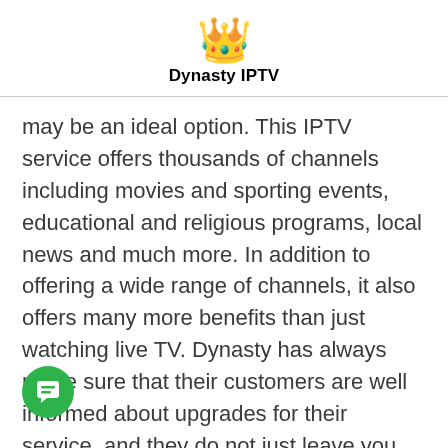Dynasty IPTV
may be an ideal option. This IPTV service offers thousands of channels including movies and sporting events, educational and religious programs, local news and much more. In addition to offering a wide range of channels, it also offers many more benefits than just watching live TV. Dynasty has always made sure that their customers are well informed about upgrades for their service, and they do not just leave you hanging about without any information at all. When you need to know what's going on with your service, this is the one place you should turn to for all your needs.
[Figure (illustration): Green circular chat button icon in bottom left corner]